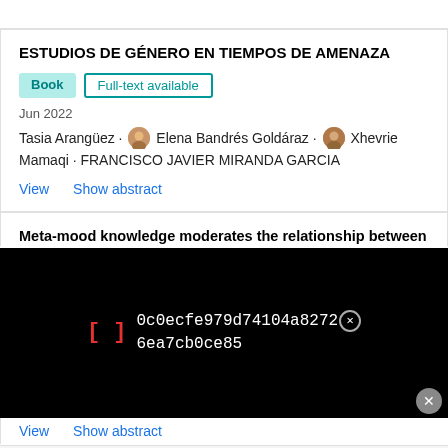ESTUDIOS DE GÉNERO EN TIEMPOS DE AMENAZA
Book | Full-text available
Jun 2022
Tasia Arangüez · Elena Bandrés Goldáraz · Xhevrie Mamaqi · FRANCISCO JAVIER MIRANDA GARCIA
View   Show abstract
Meta-mood knowledge moderates the relationship between
View   Show abstract
Advertisement
[Figure (other): Dark overlay with hash code: 0c0ecfe979d74104a82726ea7cb0ce85 and red bracket symbol []]
[Figure (other): ThermoFisher Scientific advertisement banner: Explore the Cell Culture Virtual Lab, gibco]